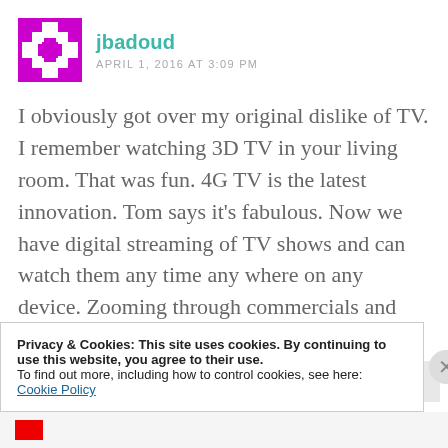jbadoud
APRIL 1, 2016 AT 3:09 PM
I obviously got over my original dislike of TV. I remember watching 3D TV in your living room. That was fun. 4G TV is the latest innovation. Tom says it's fabulous. Now we have digital streaming of TV shows and can watch them any time any where on any device. Zooming through commercials and binge watching are
Privacy & Cookies: This site uses cookies. By continuing to use this website, you agree to their use.
To find out more, including how to control cookies, see here:
Cookie Policy
Close and accept